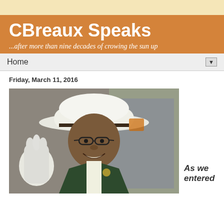CBreaux Speaks
...after more than nine decades of crowing the sun up
Home
Friday, March 11, 2016
[Figure (photo): An elderly woman wearing a National Park Service ranger hat and uniform, smiling and waving with a white gloved hand. She wears glasses and is standing in front of what appears to be a vehicle or building interior.]
As we entered